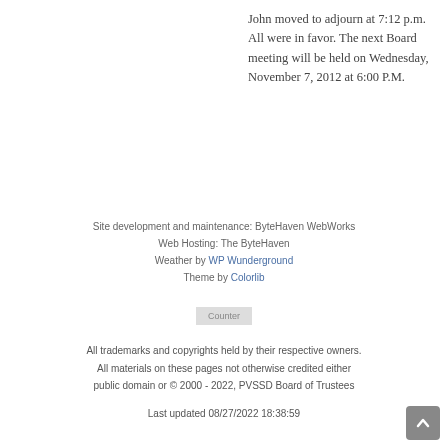John moved to adjourn at 7:12 p.m. All were in favor. The next Board meeting will be held on Wednesday, November 7, 2012 at 6:00 P.M.
Site development and maintenance: ByteHaven WebWorks
Web Hosting: The ByteHaven
Weather by WP Wunderground
Theme by Colorlib
[Counter]
All trademarks and copyrights held by their respective owners.
All materials on these pages not otherwise credited either public domain or © 2000 - 2022, PVSSD Board of Trustees
Last updated 08/27/2022 18:38:59